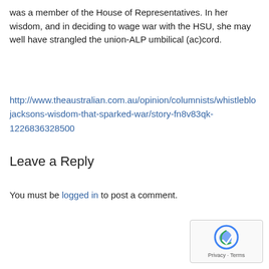was a member of the House of Representatives. In her wisdom, and in deciding to wage war with the HSU, she may well have strangled the union-ALP umbilical (ac)cord.
http://www.theaustralian.com.au/opinion/columnists/whistleblower-jacksons-wisdom-that-sparked-war/story-fn8v83qk-1226836328500
Leave a Reply
You must be logged in to post a comment.
[Figure (other): reCAPTCHA widget showing Privacy and Terms]